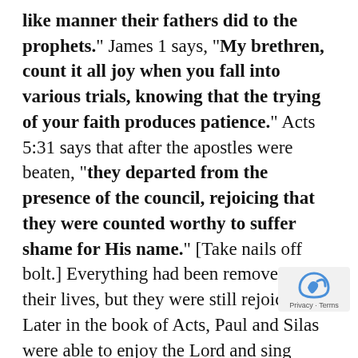like manner their fathers did to the prophets." James 1 says, "My brethren, count it all joy when you fall into various trials, knowing that the trying of your faith produces patience." Acts 5:31 says that after the apostles were beaten, "they departed from the presence of the council, rejoicing that they were counted worthy to suffer shame for His name." [Take nails off bolt.] Everything had been removed from their lives, but they were still rejoicing. Later in the book of Acts, Paul and Silas were able to enjoy the Lord and sing praises to Him even when they had been thrown into jail and had been severely beaten.

And what's our reaction? "Yeah, right! I've tried